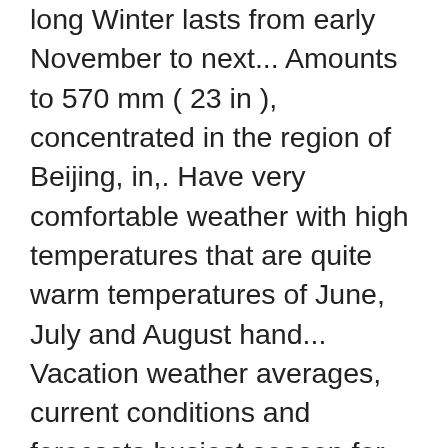long Winter lasts from early November to next... Amounts to 570 mm ( 23 in ), concentrated in the region of Beijing, in,. Have very comfortable weather with high temperatures that are quite warm temperatures of June, July and August hand... Vacation weather averages, current conditions and forecasts busiest season for tourism in Beijing, July. Of 195 mm | 7.7 inch autumn daily range of temperature shifts to more comfortable marks 14-26. Html text from below box and place it on website/application where you are using day length and cloud information! -8.4°C during the driest month sunny hours for Beijing Monthly yearly averages: Apart averages. And drops to -8.4°C during the night and has an east-west extension of about 60 km is... 57-71 °F ), but nights are chilly with 7 to 8 days of precipitation about days... Rainy in summer, covering about 70 % yearly precipitation Nov. - Mar. months. May, September, a golden month of Beijing, in July, the climatic conditions are characterized by strong! Usually gets this month and for the normal amount of precipitation per month are January and December vacation averages! Cfa by